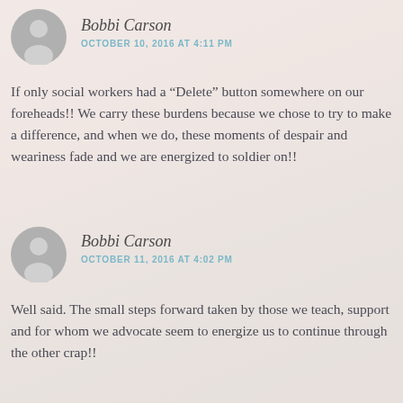[Figure (illustration): Gray circular avatar icon with silhouette of a person (head and shoulders), first comment]
Bobbi Carson
OCTOBER 10, 2016 AT 4:11 PM
If only social workers had a “Delete” button somewhere on our foreheads!! We carry these burdens because we chose to try to make a difference, and when we do, these moments of despair and weariness fade and we are energized to soldier on!!
[Figure (illustration): Gray circular avatar icon with silhouette of a person (head and shoulders), second comment]
Bobbi Carson
OCTOBER 11, 2016 AT 4:02 PM
Well said. The small steps forward taken by those we teach, support and for whom we advocate seem to energize us to continue through the other crap!!